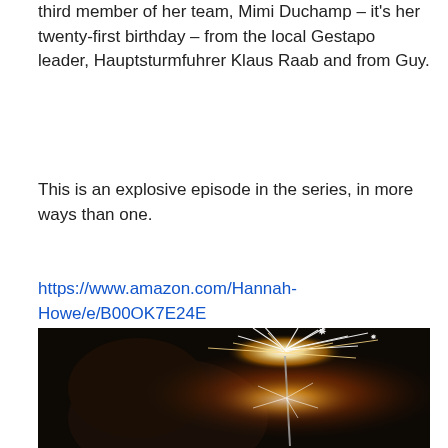third member of her team, Mimi Duchamp – it's her twenty-first birthday – from the local Gestapo leader, Hauptsturmfuhrer Klaus Raab and from Guy.
This is an explosive episode in the series, in more ways than one.
https://www.amazon.com/Hannah-Howe/e/B00OK7E24E
[Figure (photo): A close-up photograph of a person holding a sparkler in the dark, with bright white and orange sparks flying from the sparkler against a dark background.]